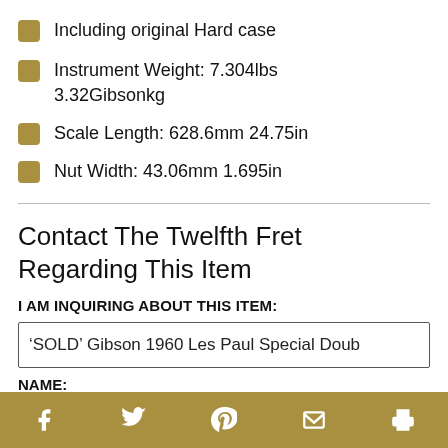Including original Hard case
Instrument Weight: 7.304lbs 3.32Gibsonkg
Scale Length: 628.6mm 24.75in
Nut Width: 43.06mm 1.695in
Contact The Twelfth Fret Regarding This Item
I AM INQUIRING ABOUT THIS ITEM:
‘SOLD’ Gibson 1960 Les Paul Special Doub
NAME:
Social share icons: Facebook, Twitter, Pinterest, Email, Print